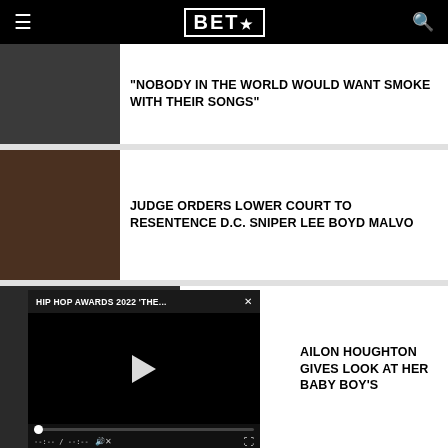BET★
"NOBODY IN THE WORLD WOULD WANT SMOKE WITH THEIR SONGS"
JUDGE ORDERS LOWER COURT TO RESENTENCE D.C. SNIPER LEE BOYD MALVO
[Figure (screenshot): Video player overlay showing HIP HOP AWARDS 2022 'THE...' with play button, progress bar, and controls]
AILON HOUGHTON GIVES LOOK AT HER BABY BOY'S